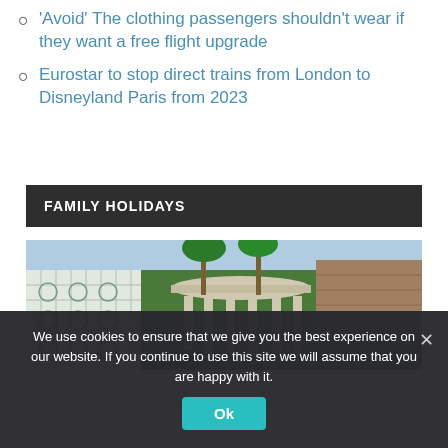'Avoid' The clothing passengers shouldn't wear if they want a free flight upgrade
Eurostar to stop direct trains from London to Disneyland Paris from 2023
FAMILY HOLIDAYS
[Figure (photo): Outdoor garden area with decorative white lattice screen on left, palm trees, a circular columned pavilion structure in the center, stone wall and lush vegetation]
We use cookies to ensure that we give you the best experience on our website. If you continue to use this site we will assume that you are happy with it.